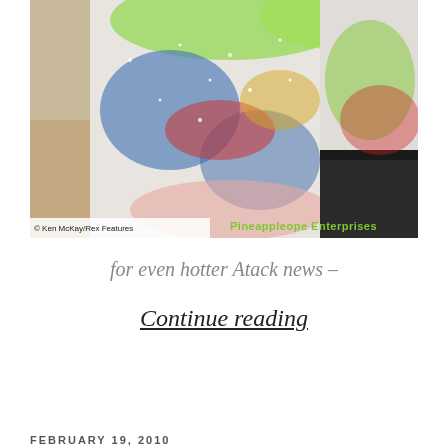[Figure (photo): Close-up photo of two ice skaters in colorful bejeweled costumes. A woman in a multicolored (green, blue, red, yellow) sparkling dress with her hands clasped, and a man in a white top with dark pants. Watermark text: '© Ken McKay/Rex Features' on the bottom left, and 'Pineappleope Enterprises' in green on the bottom right.]
for even hotter Atack news –
Continue reading
FEBRUARY 19, 2010